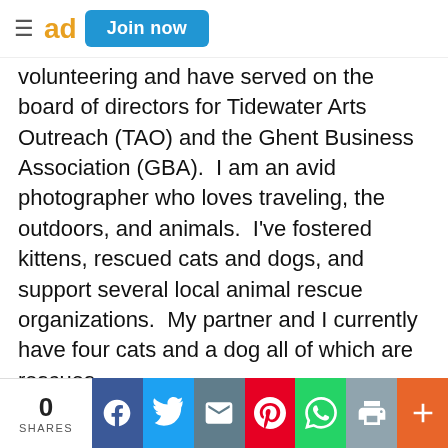≡ ad  Join now
volunteering and have served on the board of directors for Tidewater Arts Outreach (TAO) and the Ghent Business Association (GBA).  I am an avid photographer who loves traveling, the outdoors, and animals.  I've fostered kittens, rescued cats and dogs, and support several local animal rescue organizations.  My partner and I currently have four cats and a dog all of which are rescues.
Please contact me when you start your search for a real estate professional.  I would like the opportunity to discuss how we
0 SHARES  [Facebook] [Twitter] [Email] [Pinterest] [WhatsApp] [Print] [+]